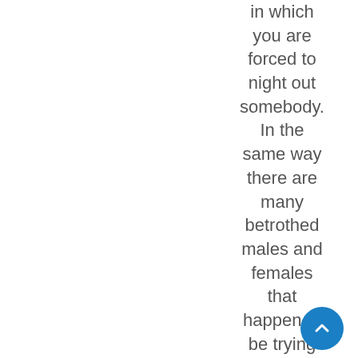in which you are forced to night out somebody. In the same way there are many betrothed males and females that happen to be trying to find Sweet Infants,